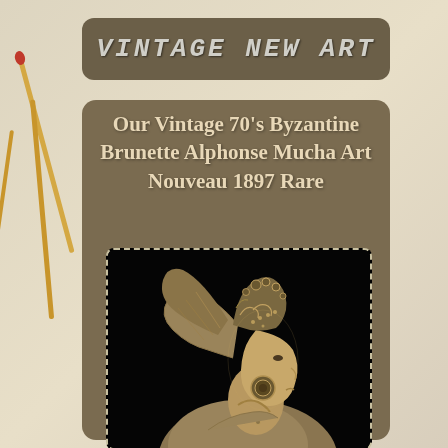Vintage New Art
Our Vintage 70's Byzantine Brunette Alphonse Mucha Art Nouveau 1897 Rare
[Figure (photo): Bronze/gold-toned relief sculpture or brooch of a woman's profile in Art Nouveau style, featuring an ornate Byzantine headdress with intricate decorative elements, flowing hair, and detailed jewelry. Set against a black background. Style reminiscent of Alphonse Mucha's 1897 work.]